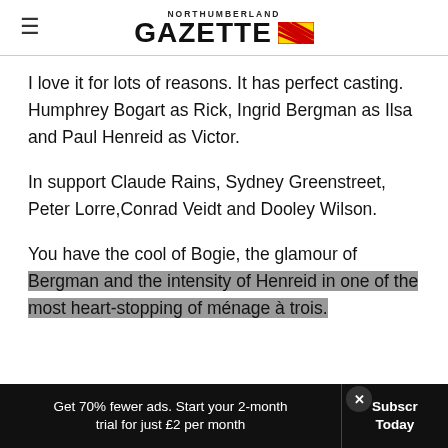NORTHUMBERLAND GAZETTE
I love it for lots of reasons. It has perfect casting. Humphrey Bogart as Rick, Ingrid Bergman as Ilsa and Paul Henreid as Victor.
In support Claude Rains, Sydney Greenstreet, Peter Lorre,Conrad Veidt and Dooley Wilson.
You have the cool of Bogie, the glamour of Bergman and the intensity of Henreid in one of the most heart-stopping of ménage à trois.
Get 70% fewer ads. Start your 2-month trial for just £2 per month  Subscribe Today